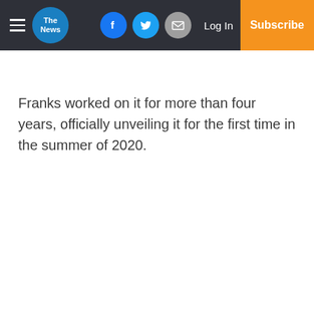The News — navbar with hamburger menu, logo, social icons (Facebook, Twitter, Email), Log In, Subscribe
Franks worked on it for more than four years, officially unveiling it for the first time in the summer of 2020.